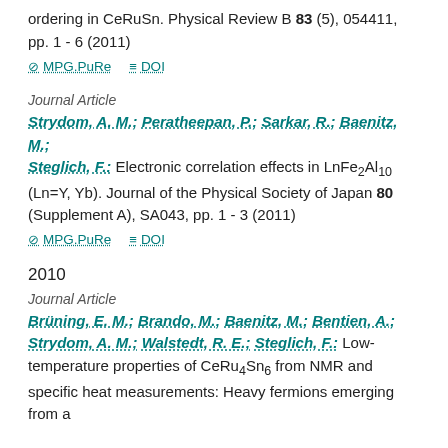ordering in CeRuSn. Physical Review B 83 (5), 054411, pp. 1 - 6 (2011)
MPG.PuRe   DOI
Journal Article
Strydom, A. M.; Peratheepan, P.; Sarkar, R.; Baenitz, M.; Steglich, F.: Electronic correlation effects in LnFe2Al10 (Ln=Y, Yb). Journal of the Physical Society of Japan 80 (Supplement A), SA043, pp. 1 - 3 (2011)
MPG.PuRe   DOI
2010
Journal Article
Brüning, E. M.; Brando, M.; Baenitz, M.; Bentien, A.; Strydom, A. M.; Walstedt, R. E.; Steglich, F.: Low-temperature properties of CeRu4Sn6 from NMR and specific heat measurements: Heavy fermions emerging from a